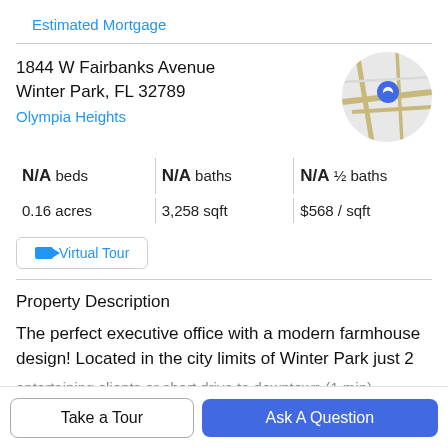Estimated Mortgage
1844 W Fairbanks Avenue
Winter Park, FL 32789
Olympia Heights
[Figure (map): Circular map thumbnail showing street map with blue location pin marker]
| Stat | Value |
| --- | --- |
| N/A beds | N/A baths | N/A ½ baths |
| 0.16 acres | 3,258 sqft | $568 / sqft |
Virtual Tour
Property Description
The perfect executive office with a modern farmhouse design! Located in the city limits of Winter Park just 2
entertaining clients or short drive to downtown (1 min)